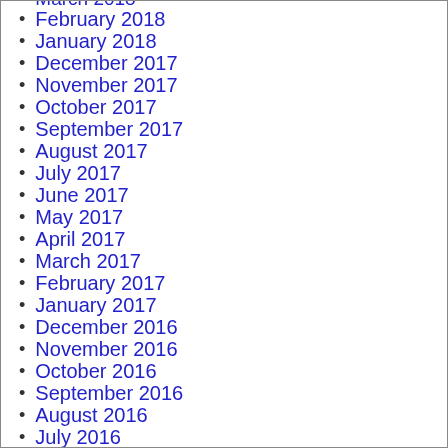March 2018
February 2018
January 2018
December 2017
November 2017
October 2017
September 2017
August 2017
July 2017
June 2017
May 2017
April 2017
March 2017
February 2017
January 2017
December 2016
November 2016
October 2016
September 2016
August 2016
July 2016
June 2016
May 2016